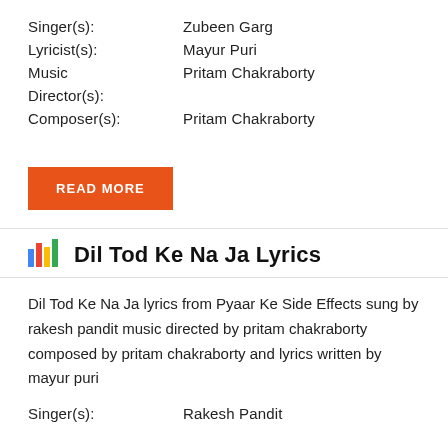Singer(s):   Zubeen Garg
Lyricist(s):   Mayur Puri
Music   Pritam Chakraborty
Director(s):
Composer(s):   Pritam Chakraborty
READ MORE
Dil Tod Ke Na Ja Lyrics
Dil Tod Ke Na Ja lyrics from Pyaar Ke Side Effects sung by rakesh pandit music directed by pritam chakraborty composed by pritam chakraborty and lyrics written by mayur puri
Singer(s):   Rakesh Pandit